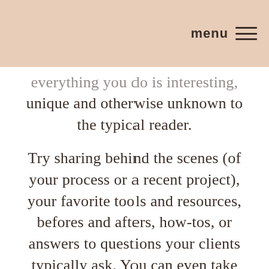menu ☰
everything you do is interesting, unique and otherwise unknown to the typical reader.
Try sharing behind the scenes (of your process or a recent project), your favorite tools and resources, befores and afters, how-tos, or answers to questions your clients typically ask. You can even take